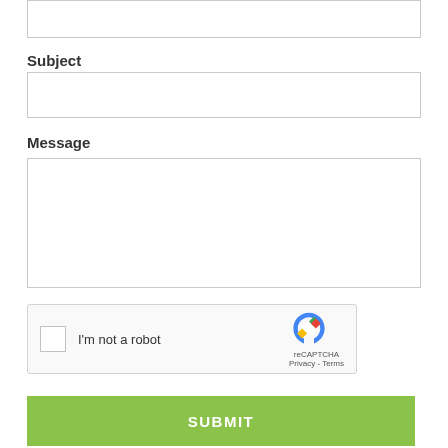[Figure (screenshot): Empty text input field (top, partially visible)]
Subject
[Figure (screenshot): Empty text input field for Subject]
Message
[Figure (screenshot): Empty textarea field for Message]
[Figure (screenshot): reCAPTCHA widget with checkbox labeled I'm not a robot]
[Figure (screenshot): SUBMIT button in green]